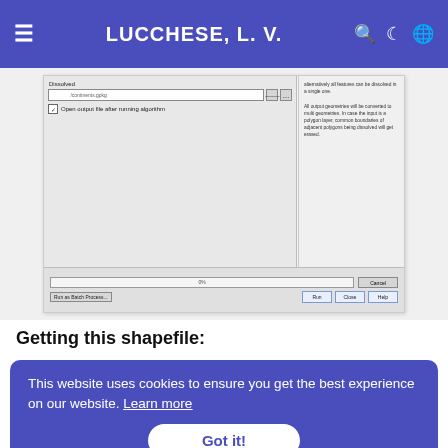LUCCHESE, L. V.
[Figure (screenshot): QGIS Dissolve algorithm dialog screenshot showing Dissolved output file path, Open output file after running algorithm checkbox, a progress bar at 0%, Cancel button, and Run as Batch Process..., Run, Close, Help buttons. Right panel shows algorithm description text.]
Getting this shapefile:
This website uses cookies to ensure you get the best experience on our website. Learn more
Got it!